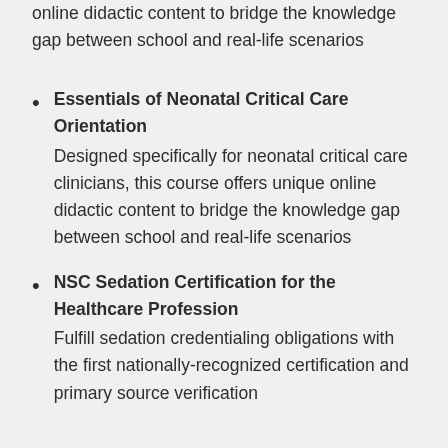online didactic content to bridge the knowledge gap between school and real-life scenarios
Essentials of Neonatal Critical Care Orientation — Designed specifically for neonatal critical care clinicians, this course offers unique online didactic content to bridge the knowledge gap between school and real-life scenarios
NSC Sedation Certification for the Healthcare Profession — Fulfill sedation credentialing obligations with the first nationally-recognized certification and primary source verification